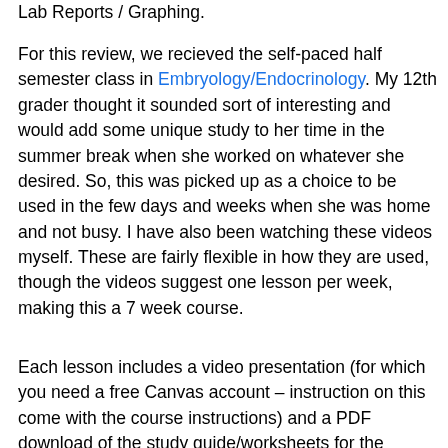Lab Reports / Graphing.
For this review, we recieved the self-paced half semester class in Embryology/Endocrinology. My 12th grader thought it sounded sort of interesting and would add some unique study to her time in the summer break when she worked on whatever she desired. So, this was picked up as a choice to be used in the few days and weeks when she was home and not busy. I have also been watching these videos myself. These are fairly flexible in how they are used, though the videos suggest one lesson per week, making this a 7 week course.
Each lesson includes a video presentation (for which you need a free Canvas account – instruction on this come with the course instructions) and a PDF download of the study guide/worksheets for the lessons. The actual course